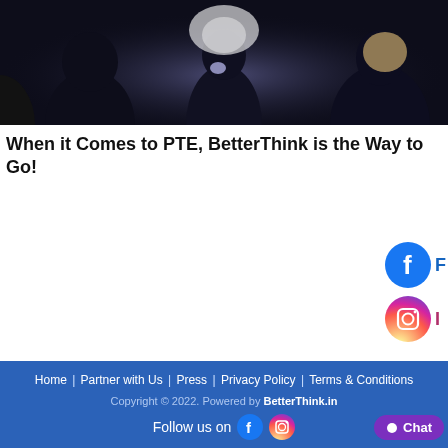[Figure (photo): Silhouettes of people from behind watching a bright screen or projector in a dark room]
When it Comes to PTE, BetterThink is the Way to Go!
[Figure (illustration): Facebook icon circle logo (blue) on the right side with partial text 'F']
[Figure (illustration): Instagram icon circle logo (gradient pink/orange/purple) on the right side with partial text 'In']
Home | Partner with Us | Press | Privacy Policy | Terms & Conditions
Copyright © 2022. Powered by BetterThink.in
Follow us on [Facebook icon] [Instagram icon]
Chat